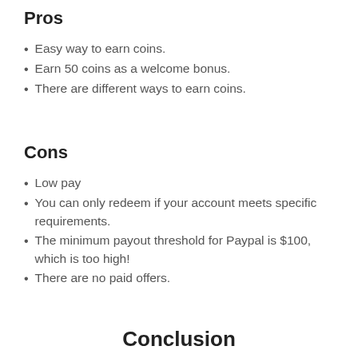Pros
Easy way to earn coins.
Earn 50 coins as a welcome bonus.
There are different ways to earn coins.
Cons
Low pay
You can only redeem if your account meets specific requirements.
The minimum payout threshold for Paypal is $100, which is too high!
There are no paid offers.
Conclusion